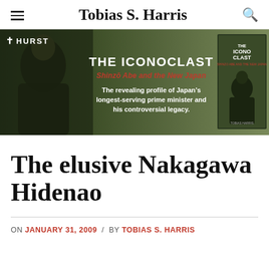Tobias S. Harris
[Figure (illustration): Advertisement banner for the book 'The Iconoclast: Shinzō Abe and the New Japan' by Tobias S. Harris, published by Hurst. Features a photo of Shinzō Abe on the left, book cover on the right, with text: THE ICONOCLAST, Shinzō Abe and the New Japan, The revealing profile of Japan's longest-serving prime minister and his controversial legacy.]
The elusive Nakagawa Hidenao
ON JANUARY 31, 2009 / BY TOBIAS S. HARRIS